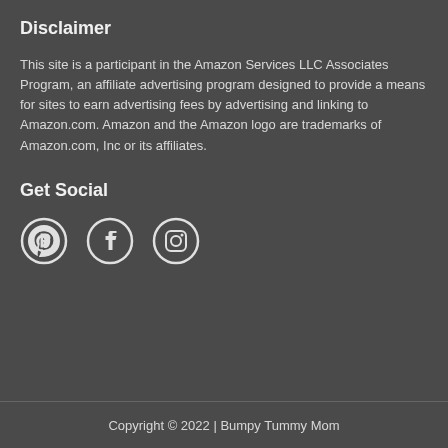Disclaimer
This site is a participant in the Amazon Services LLC Associates Program, an affiliate advertising program designed to provide a means for sites to earn advertising fees by advertising and linking to Amazon.com. Amazon and the Amazon logo are trademarks of Amazon.com, Inc or its affiliates.
Get Social
[Figure (other): Social media icons: Pinterest, Facebook, Instagram]
Copyright © 2022 | Bumpy Tummy Mom